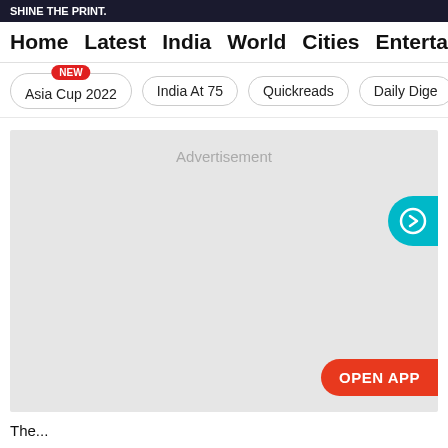SHINE THE PRINT.
Home  Latest  India  World  Cities  Entertainment
Asia Cup 2022 NEW
India At 75
Quickreads
Daily Dige
[Figure (other): Advertisement placeholder block with OPEN APP button and teal arrow button]
The...